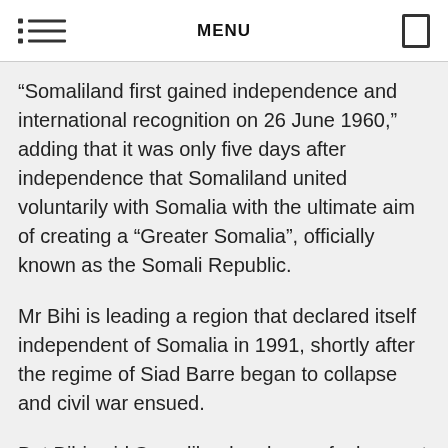MENU
“Somaliland first gained independence and international recognition on 26 June 1960,” adding that it was only five days after independence that Somaliland united voluntarily with Somalia with the ultimate aim of creating a “Greater Somalia”, officially known as the Somali Republic.
Mr Bihi is leading a region that declared itself independent of Somalia in 1991, shortly after the regime of Siad Barre began to collapse and civil war ensued.
But Bihi said Somaliland no longer feels a part of the “Greater Somalia,” envisaged to include five former